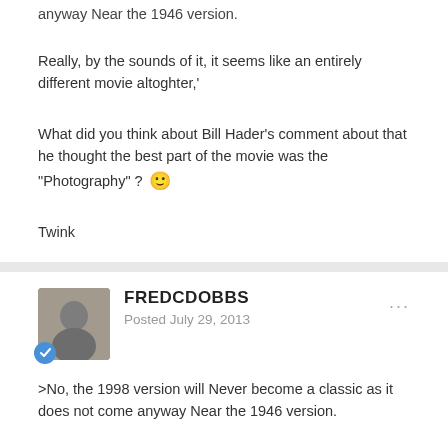anyway Near the 1946 version.
Really, by the sounds of it, it seems like an entirely different movie altoghter,'
What did you think about Bill Hader's comment about that he thought the best part of the movie was the "Photography" ? 🙂
Twink
FREDCDOBBS
Posted July 29, 2013
>No, the 1998 version will Never become a classic as it does not come anyway Near the 1946 version.